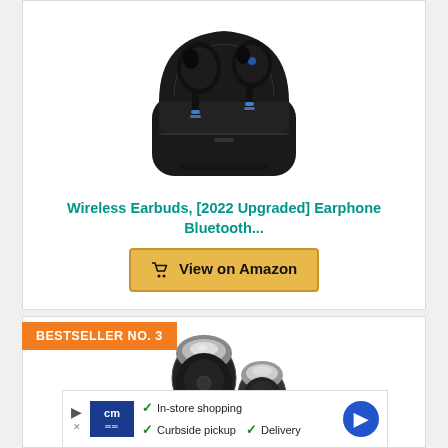[Figure (photo): Black wireless earbuds with charging case, blue LED lights visible, earbuds partially out of case]
Wireless Earbuds, [2022 Upgraded] Earphone Bluetooth...
View on Amazon
BESTSELLER NO. 3
[Figure (photo): Small black and silver wireless earbuds, two earbuds shown side by side]
[Figure (infographic): Advertisement banner: cm logo, In-store shopping, Curbside pickup, Delivery, navigation arrow]